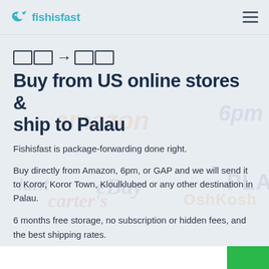fishisfast
Buy from US online stores & ship to Palau
Fishisfast is package-forwarding done right.
Buy directly from Amazon, 6pm, or GAP and we will send it to Koror, Koror Town, Kloulklubed or any other destination in Palau.
6 months free storage, no subscription or hidden fees, and the best shipping rates.